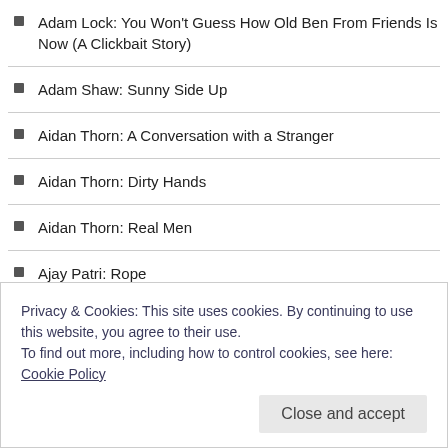Adam Lock: You Won't Guess How Old Ben From Friends Is Now (A Clickbait Story)
Adam Shaw: Sunny Side Up
Aidan Thorn: A Conversation with a Stranger
Aidan Thorn: Dirty Hands
Aidan Thorn: Real Men
Ajay Patri: Rope
Al Kratz: I'm Trying to Tell You Something
Al Kratz: Next to Cleanliness
Alan Beard: Ice Cream
Alan Beard: Keep it Simple
Privacy & Cookies: This site uses cookies. By continuing to use this website, you agree to their use.
To find out more, including how to control cookies, see here: Cookie Policy
Close and accept